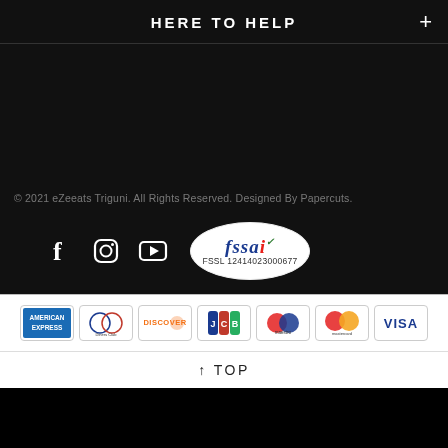HERE TO HELP
© 2021 eZeeats Triguni. All Rights Reserved. Designed By Papercuts.
[Figure (logo): Social media icons (Facebook, Instagram, YouTube) and FSSAI badge with license number FSSL 12414023000677]
[Figure (logo): Payment method logos: American Express, Diners Club International, Discover, JCB, Maestro, Mastercard, Visa]
↑ TOP